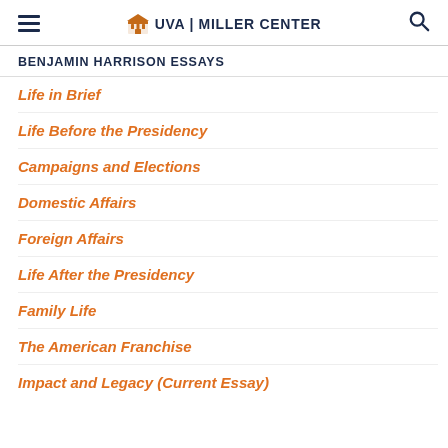UVA | MILLER CENTER
BENJAMIN HARRISON ESSAYS
Life in Brief
Life Before the Presidency
Campaigns and Elections
Domestic Affairs
Foreign Affairs
Life After the Presidency
Family Life
The American Franchise
Impact and Legacy (Current Essay)